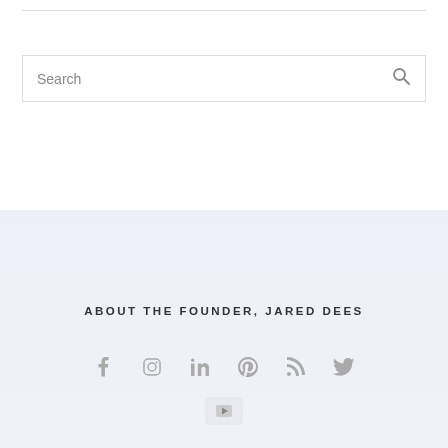[Figure (screenshot): Search bar with placeholder text 'Search' and a magnifying glass icon on the right]
ABOUT THE FOUNDER, JARED DEES
[Figure (infographic): Row of social media icons: Facebook, Instagram, LinkedIn, Pinterest, RSS, Twitter, and YouTube]